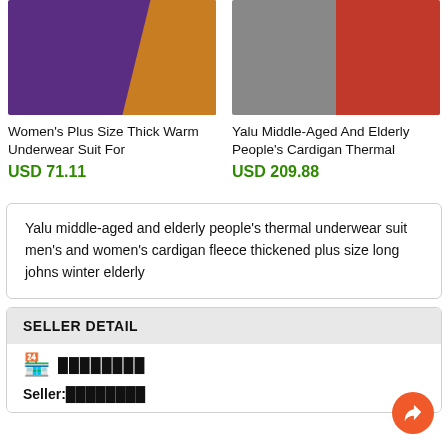[Figure (photo): Woman wearing purple and orange thermal underwear suit]
Women's Plus Size Thick Warm Underwear Suit For
USD 71.11
[Figure (photo): Man and woman wearing grey/red cardigan thermal suits]
Yalu Middle-Aged And Elderly People's Cardigan Thermal
USD 209.88
Yalu middle-aged and elderly people's thermal underwear suit men's and women's cardigan fleece thickened plus size long johns winter elderly
SELLER DETAIL
🏪 ████████
Seller:████████